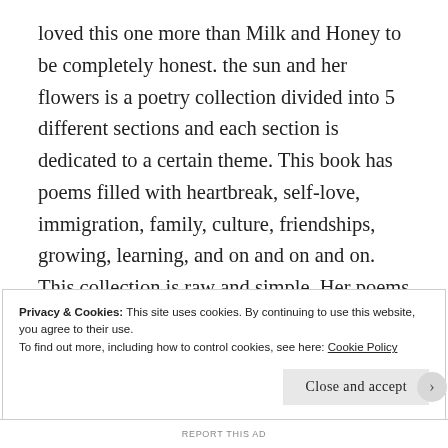loved this one more than Milk and Honey to be completely honest. the sun and her flowers is a poetry collection divided into 5 different sections and each section is dedicated to a certain theme. This book has poems filled with heartbreak, self-love, immigration, family, culture, friendships, growing, learning, and on and on and on. This collection is raw and simple. Her poems go straight to the point. I connected so much to the heartbreak poems, immigration poems, and family poems. As a woman of color myself, the poems where Rupi talks about her family coming here from another country really hit
Privacy & Cookies: This site uses cookies. By continuing to use this website, you agree to their use.
To find out more, including how to control cookies, see here: Cookie Policy
Close and accept
REPORT THIS AD